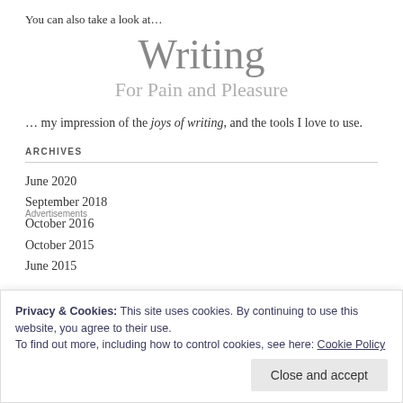You can also take a look at…
Writing
For Pain and Pleasure
… my impression of the joys of writing, and the tools I love to use.
ARCHIVES
June 2020
September 2018
October 2016
October 2015
June 2015
Privacy & Cookies: This site uses cookies. By continuing to use this website, you agree to their use.
To find out more, including how to control cookies, see here: Cookie Policy
Close and accept